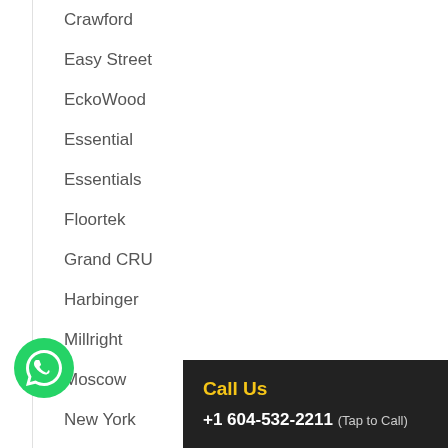Crawford
Easy Street
EckoWood
Essential
Essentials
Floortek
Grand CRU
Harbinger
Millright
Moscow
New York
Call Us
+1 604-532-2211 (Tap to Call)